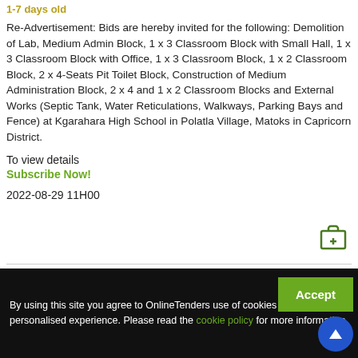1-7 days old
Re-Advertisement: Bids are hereby invited for the following: Demolition of Lab, Medium Admin Block, 1 x 3 Classroom Block with Small Hall, 1 x 3 Classroom Block with Office, 1 x 3 Classroom Block, 1 x 2 Classroom Block, 2 x 4-Seats Pit Toilet Block, Construction of Medium Administration Block, 2 x 4 and 1 x 2 Classroom Blocks and External Works (Septic Tank, Water Reticulations, Walkways, Parking Bays and Fence) at Kgarahara High School in Polatla Village, Matoks in Capricorn District.
To view details
Subscribe Now!
2022-08-29 11H00
[Figure (other): Briefcase/calendar add icon in green]
By using this site you agree to OnlineTenders use of cookies to give you a personalised experience. Please read the cookie policy for more information.
Accept